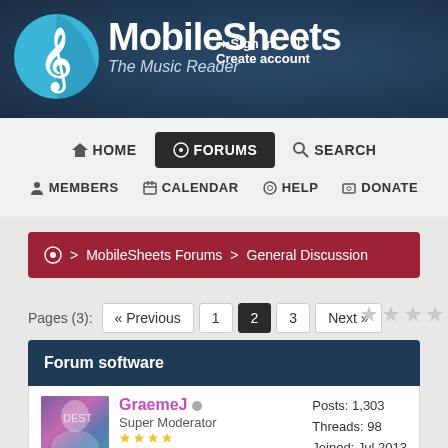[Figure (screenshot): MobileSheets forum website header with treble clef logo, site title 'MobileSheets', tagline 'The Music Reader', and Sign in / Create account links]
HOME | FORUMS | SEARCH
MEMBERS | CALENDAR | HELP | DONATE
> MobileSheets Forums > General Discussion
Pages (3): « Previous  1  2  3  Next »
Forum software
GraemeJ  Super Moderator  Posts: 1,303  Threads: 98  Joined: Jul 2013